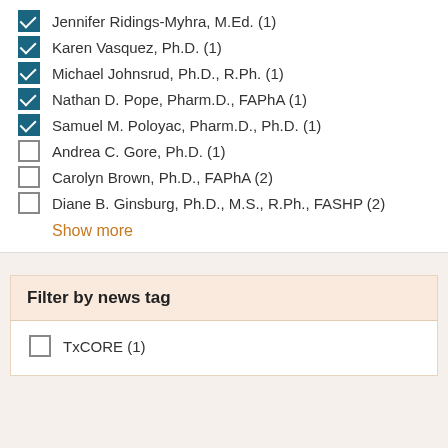Jennifer Ridings-Myhra, M.Ed. (1)
Karen Vasquez, Ph.D. (1)
Michael Johnsrud, Ph.D., R.Ph. (1)
Nathan D. Pope, Pharm.D., FAPhA (1)
Samuel M. Poloyac, Pharm.D., Ph.D. (1)
Andrea C. Gore, Ph.D. (1)
Carolyn Brown, Ph.D., FAPhA (2)
Diane B. Ginsburg, Ph.D., M.S., R.Ph., FASHP (2)
Show more
Filter by news tag
TxCORE (1)